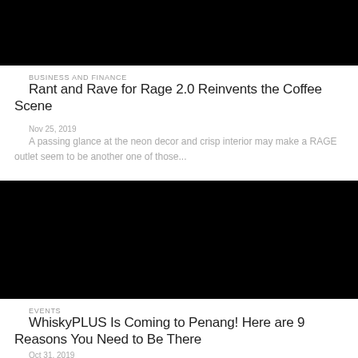[Figure (photo): Black image/thumbnail for first article]
BUSINESS AND FINANCE
Rant and Rave for Rage 2.0 Reinvents the Coffee Scene
Nov 25, 2019
A passing glance at the neon decor and crisp interior may make a RAGE outlet seem to be another one of those...
[Figure (photo): Black image/thumbnail for second article]
EVENTS
WhiskyPLUS Is Coming to Penang! Here are 9 Reasons You Need to Be There
Oct 31, 2019